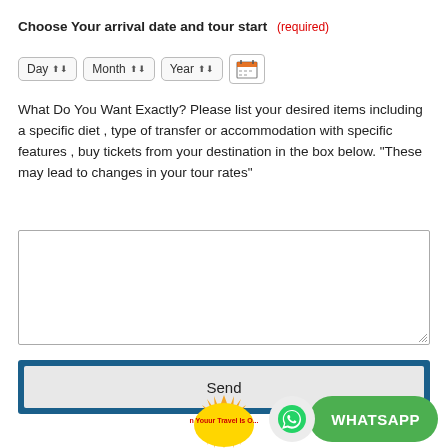Choose Your arrival date and tour start (required)
Day / Month / Year [calendar icon]
What Do You Want Exactly? Please list your desired items including a specific diet , type of transfer or accommodation with specific features , buy tickets from your destination in the box below. "These may lead to changes in your tour rates"
Send
[Figure (screenshot): WhatsApp chat button with green background and WhatsApp icon]
[Figure (logo): Youur Travel Is O... logo badge with sun rays, yellow and orange colors]